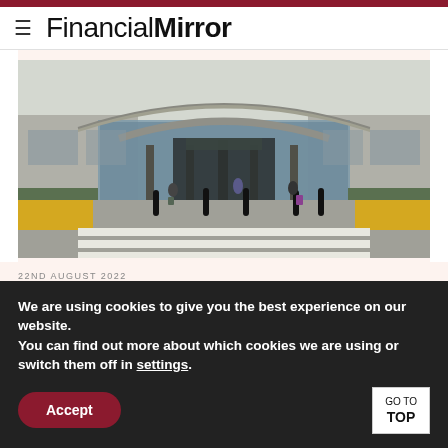FinancialMirror
[Figure (photo): Exterior of an airport terminal building with pedestrians walking toward entrance, yellow painted areas and a zebra crossing in the foreground, glass facade with curved roof canopy]
22ND AUGUST 2022
Cyprus... Eli... bl... for R...
We are using cookies to give you the best experience on our website.
You can find out more about which cookies we are using or switch them off in settings.